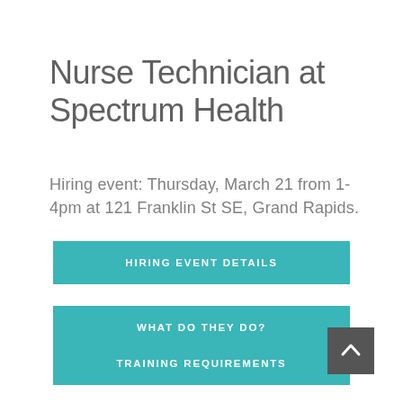Nurse Technician at Spectrum Health
Hiring event: Thursday, March 21 from 1-4pm at 121 Franklin St SE, Grand Rapids.
HIRING EVENT DETAILS
WHAT DO THEY DO?
TRAINING REQUIREMENTS
2019 HOT JOB